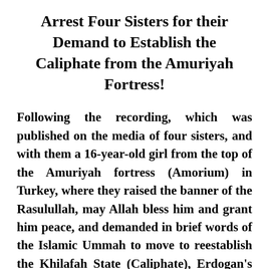Arrest Four Sisters for their Demand to Establish the Caliphate from the Amuriyah Fortress!
Following the recording, which was published on the media of four sisters, and with them a 16-year-old girl from the top of the Amuriyah fortress (Amorium) in Turkey, where they raised the banner of the Rasulullah, may Allah bless him and grant him peace, and demanded in brief words of the Islamic Ummah to move to reestablish the Khilafah State (Caliphate), Erdogan's agents and intelligence rushed to the homes of the sisters Tuesday morning,